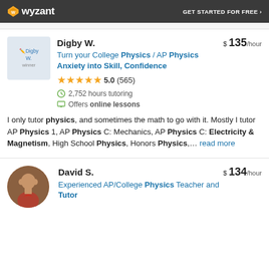Wyzant — GET STARTED FOR FREE ›
Digby W. — $135/hour — Turn your College Physics / AP Physics Anxiety into Skill, Confidence — 5.0 (565) — 2,752 hours tutoring — Offers online lessons
I only tutor physics, and sometimes the math to go with it. Mostly I tutor AP Physics 1, AP Physics C: Mechanics, AP Physics C: Electricity & Magnetism, High School Physics, Honors Physics,... read more
David S. — $134/hour — Experienced AP/College Physics Teacher and Tutor